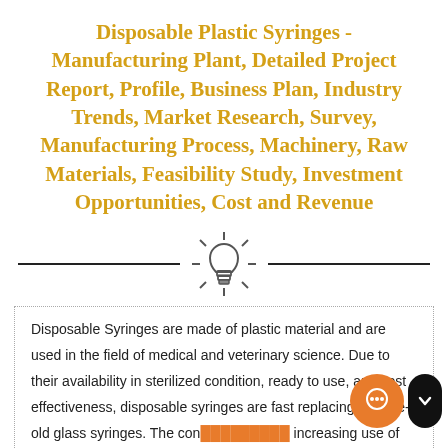Disposable Plastic Syringes - Manufacturing Plant, Detailed Project Report, Profile, Business Plan, Industry Trends, Market Research, Survey, Manufacturing Process, Machinery, Raw Materials, Feasibility Study, Investment Opportunities, Cost and Revenue
[Figure (illustration): Decorative horizontal divider with a light bulb icon in the center, flanked by two horizontal black lines]
Disposable Syringes are made of plastic material and are used in the field of medical and veterinary science. Due to their availability in sterilized condition, ready to use, and cost effectiveness, disposable syringes are fast replacing the age-old glass syringes. The con… increasing use of this type Syringe indicates its importance w… based mainly on the advantages it offers regarding cost and hygienic